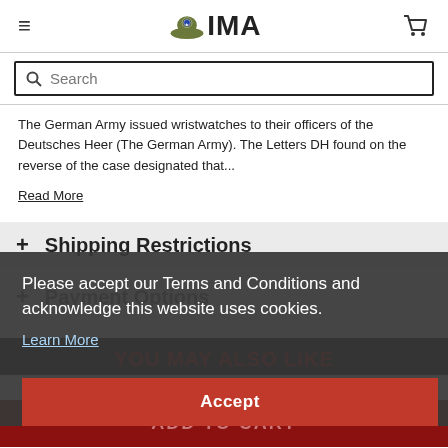IMA logo header with hamburger menu and cart icon
Search
The German Army issued wristwatches to their officers of the Deutsches Heer (The German Army). The Letters DH found on the reverse of the case designated that...
Read More
+ Shipping Restrictions
+ Payment Options
Please accept our Terms and Conditions and acknowledge this website uses cookies.
Learn More
Accept
YOU MAY ALSO LIKE
ADD TO CART